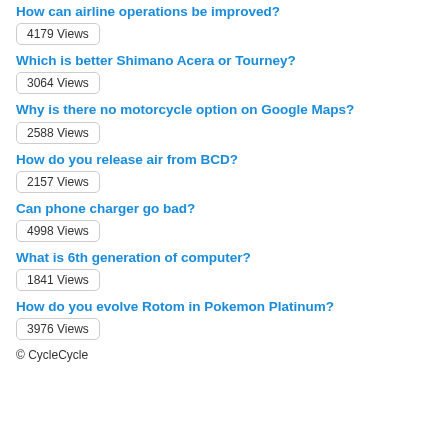How can airline operations be improved?
4179 Views
Which is better Shimano Acera or Tourney?
3064 Views
Why is there no motorcycle option on Google Maps?
2588 Views
How do you release air from BCD?
2157 Views
Can phone charger go bad?
4998 Views
What is 6th generation of computer?
1841 Views
How do you evolve Rotom in Pokemon Platinum?
3976 Views
© CycleCycle